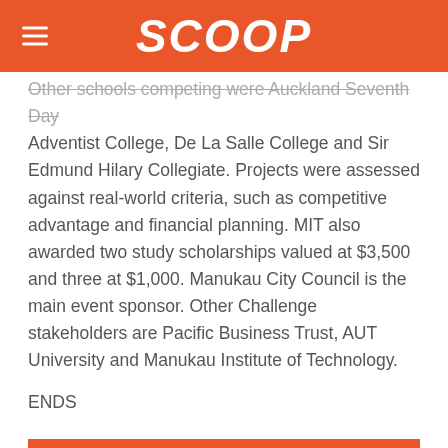SCOOP
Other schools competing were Auckland Seventh Day Adventist College, De La Salle College and Sir Edmund Hilary Collegiate. Projects were assessed against real-world criteria, such as competitive advantage and financial planning. MIT also awarded two study scholarships valued at $3,500 and three at $1,000. Manukau City Council is the main event sponsor. Other Challenge stakeholders are Pacific Business Trust, AUT University and Manukau Institute of Technology.
ENDS
Next in Lifestyle
NZSQ Conclude National Tour With